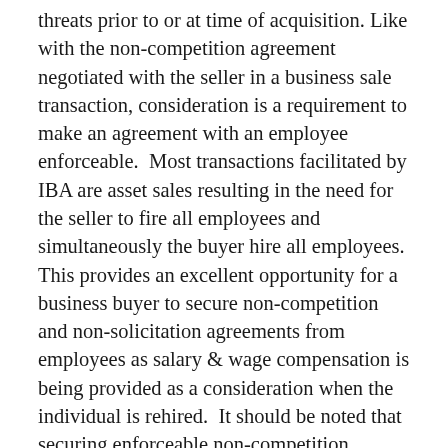threats prior to or at time of acquisition. Like with the non-competition agreement negotiated with the seller in a business sale transaction, consideration is a requirement to make an agreement with an employee enforceable.  Most transactions facilitated by IBA are asset sales resulting in the need for the seller to fire all employees and simultaneously the buyer hire all employees. This provides an excellent opportunity for a business buyer to secure non-competition and non-solicitation agreements from employees as salary & wage compensation is being provided as a consideration when the individual is rehired.  It should be noted that securing enforceable non-competition agreements from employees in Washington is becoming more problematic January 1, 2020.  Details of the pending law changes were highlighted by business attorney, Michelle Bomberger, on the IBA blog in August (https://ibainc.com/blog/guest-post/changes-washington